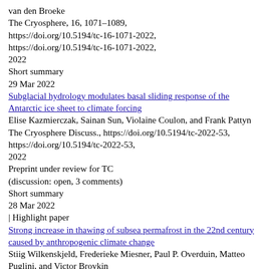van den Broeke
The Cryosphere, 16, 1071–1089,
https://doi.org/10.5194/tc-16-1071-2022,
https://doi.org/10.5194/tc-16-1071-2022,
2022
Short summary
29 Mar 2022
Subglacial hydrology modulates basal sliding response of the Antarctic ice sheet to climate forcing
Elise Kazmierczak, Sainan Sun, Violaine Coulon, and Frank Pattyn
The Cryosphere Discuss., https://doi.org/10.5194/tc-2022-53,
https://doi.org/10.5194/tc-2022-53,
2022
Preprint under review for TC
(discussion: open, 3 comments)
Short summary
28 Mar 2022
| Highlight paper
Strong increase in thawing of subsea permafrost in the 22nd century caused by anthropogenic climate change
Stiig Wilkenskjeld, Frederieke Miesner, Paul P. Overduin, Matteo Puglini, and Victor Brovkin
The Cryosphere, 16, 1057–1069,
https://doi.org/10.5194/tc-16-1057-2022,
https://doi.org/10.5194/tc-16-1057-2022,